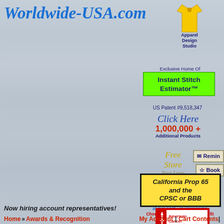Worldwide-USA.com
[Figure (illustration): Yellow t-shirt apparel design studio icon with text 'Apparel Design Studio']
Exclusive Home Of
Instant Stitch Estimator™
US Patent #9,518,347
Click Here 1,000,000+ Additional Products
Free Store Your Logo Here
✉ Remin...
☆ Book...
Worldwide Barter
Charity Donations at our cost - in your name Choose your Charity or Nonprofit
[Figure (logo): American Cancer Society logo]
California Prop 65 and the CPSC or BBB
Now hiring account representatives!
Home » Awards & Recognition   My Account | Cart Contents |